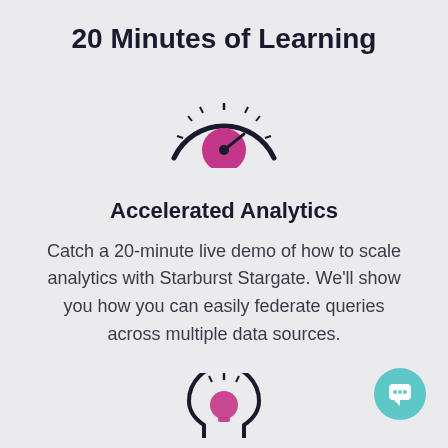20 Minutes of Learning
[Figure (illustration): Speedometer/gauge icon with a pink/magenta dial face and dark navy outer ring with tick marks, needle pointing to the right]
Accelerated Analytics
Catch a 20-minute live demo of how to scale analytics with Starburst Stargate. We'll show you how you can easily federate queries across multiple data sources.
[Figure (illustration): Head/brain icon with a pink light bulb inside and dark navy outer lines with tick marks at the top, partially visible at bottom of page]
[Figure (illustration): Teal circular chat/message button in bottom-right corner]